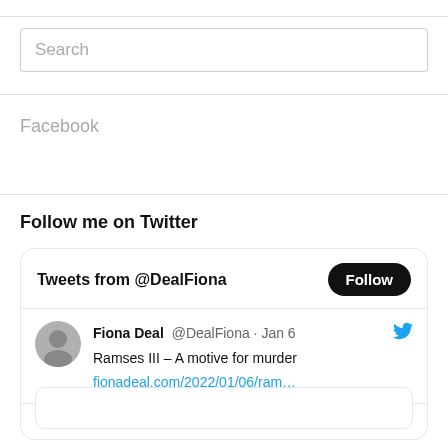Search
Facebook
Follow me on Twitter
[Figure (screenshot): Twitter widget showing 'Tweets from @DealFiona' with a Follow button and a tweet by Fiona Deal @DealFiona from Jan 6 saying 'Ramses III – A motive for murder fionadeal.com/2022/01/06/ram…']